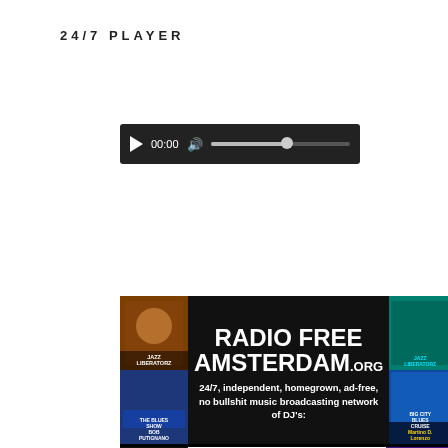24/7 PLAYER
[Figure (screenshot): Audio player bar with play button, 00:00 time display, volume icon, and slider track on dark background]
[Figure (infographic): Radio Free Amsterdam banner with album art on sides, white center text reading RADIO FREE AMSTERDAM.ORG with tagline '24/7, independent, homegrown, ad-free, no bullshit music broadcasting network of DJ's:' and bottom section listing DJ names: John Sinclair, Lucille DJ, Leslie Keros, David Kunian, Steve Fly, Maryse Dejean, Bruce Pingree, Roger White, Bob Putignano, Linda Lexy, Tom Morgan, George Klein, Arwulf Arwulf, Martino D. Lorenzo.]